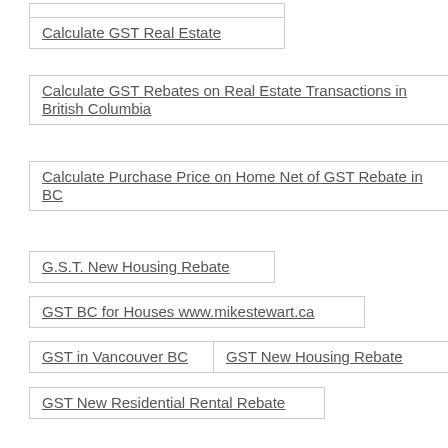Calculate GST Real Estate
Calculate GST Rebates on Real Estate Transactions in British Columbia
Calculate Purchase Price on Home Net of GST Rebate in BC
G.S.T. New Housing Rebate
GST BC for Houses www.mikestewart.ca
GST in Vancouver BC
GST New Housing Rebate
GST New Residential Rental Rebate
GST NRR Rebate
GST on Assignment of Contract
GST on Presale Condos
GST Payable on Assignment of Contract